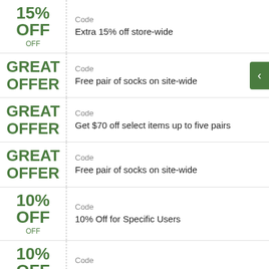15% OFF OFF | Code | Extra 15% off store-wide
GREAT OFFER | Code | Free pair of socks on site-wide
GREAT OFFER | Code | Get $70 off select items up to five pairs
GREAT OFFER | Code | Free pair of socks on site-wide
10% OFF OFF | Code | 10% Off for Specific Users
10% OFF OFF | Code | Get 10% off select items. members only
10% | Code